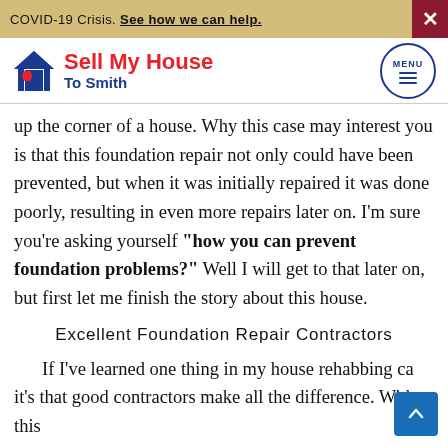COVID-19 Crisis. See how we can help.
[Figure (logo): Sell My House To Smith logo with house icon]
up the corner of a house. Why this case may interest you is that this foundation repair not only could have been prevented, but when it was initially repaired it was done poorly, resulting in even more repairs later on. I'm sure you're asking yourself "how you can prevent foundation problems?" Well I will get to that later on, but first let me finish the story about this house.
Excellent Foundation Repair Contractors
If I've learned one thing in my house rehabbing ca... it's that good contractors make all the difference. With this